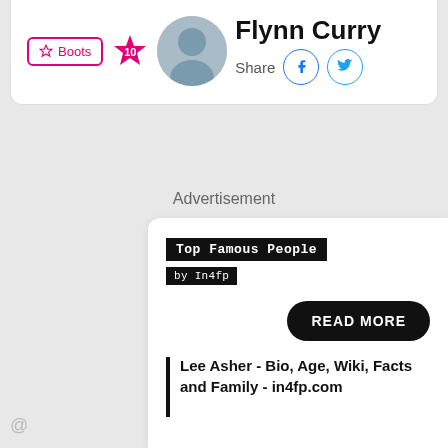Flynn Curry
Boots | 10 | Share
Advertisement
Top Famous People by In4fp
READ MORE
Lee Asher - Bio, Age, Wiki, Facts and Family - in4fp.com